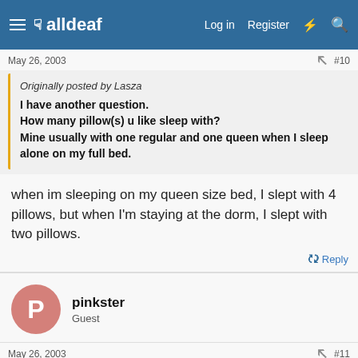alldeaf — Log in  Register
May 26, 2003
#10
Originally posted by Lasza
I have another question.
How many pillow(s) u like sleep with?
Mine usually with one regular and one queen when I sleep alone on my full bed.
when im sleeping on my queen size bed, I slept with 4 pillows, but when I'm staying at the dorm, I slept with two pillows.
Reply
pinkster
Guest
May 26, 2003
#11